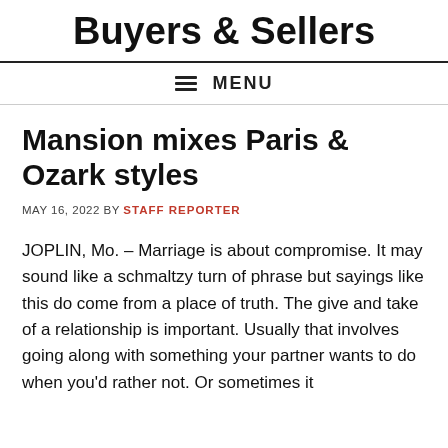Buyers & Sellers
☰ MENU
Mansion mixes Paris & Ozark styles
MAY 16, 2022 BY STAFF REPORTER
JOPLIN, Mo. – Marriage is about compromise. It may sound like a schmaltzy turn of phrase but sayings like this do come from a place of truth. The give and take of a relationship is important. Usually that involves going along with something your partner wants to do when you'd rather not. Or sometimes it